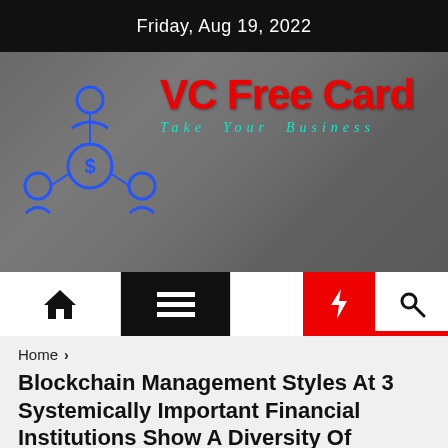Friday, Aug 19, 2022
[Figure (logo): VC Free Card website banner with logo icons (blue network/people icons), red 'VC Free Card' text, and teal italic 'Take Your Business' tagline over a blurred laptop/desk background photo]
[Figure (screenshot): Navigation bar with home icon, hamburger menu icon (black background), moon icon, red lightning bolt, and search icon]
Home
Blockchain Management Styles At 3 Systemically Important Financial Institutions Show A Diversity Of Strategies